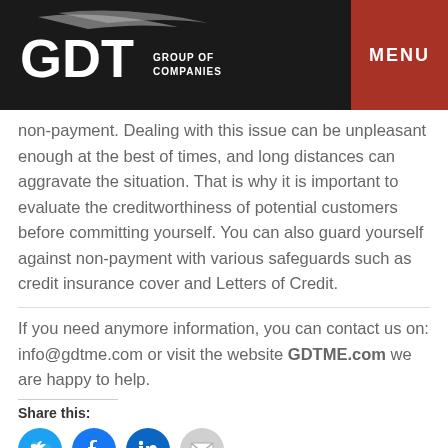GDT Group of Companies | MENU
non-payment. Dealing with this issue can be unpleasant enough at the best of times, and long distances can aggravate the situation. That is why it is important to evaluate the creditworthiness of potential customers before committing yourself. You can also guard yourself against non-payment with various safeguards such as credit insurance cover and Letters of Credit.
If you need anymore information, you can contact us on: info@gdtme.com or visit the website GDTME.com we are happy to help.
Share this:
[Figure (other): Social media share buttons: Twitter, Facebook, LinkedIn, Email]